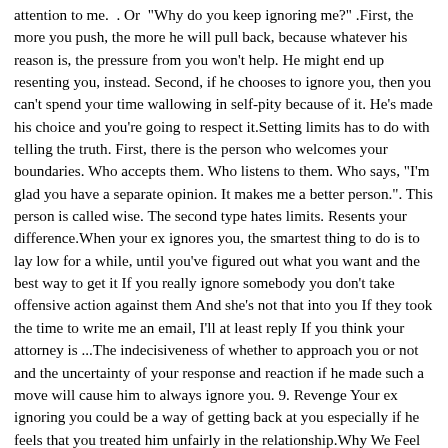attention to me. . Or  Why do you keep ignoring me? .First, the more you push, the more he will pull back, because whatever his reason is, the pressure from you won't help. He might end up resenting you, instead. Second, if he chooses to ignore you, then you can't spend your time wallowing in self-pity because of it. He's made his choice and you're going to respect it.Setting limits has to do with telling the truth. First, there is the person who welcomes your boundaries. Who accepts them. Who listens to them. Who says, "I'm glad you have a separate opinion. It makes me a better person.". This person is called wise. The second type hates limits. Resents your difference.When your ex ignores you, the smartest thing to do is to lay low for a while, until you've figured out what you want and the best way to get it If you really ignore somebody you don't take offensive action against them And she's not that into you If they took the time to write me an email, I'll at least reply If you think your attorney is ...The indecisiveness of whether to approach you or not and the uncertainty of your response and reaction if he made such a move will cause him to always ignore you. 9. Revenge Your ex ignoring you could be a way of getting back at you especially if he feels that you treated him unfairly in the relationship.Why We Feel The Urge to Text an Ex. "Many people can't stop thinking about their ex obsessively to ease a feeling of loneliness. Others, who truly loved their ex, can't let go. Some are afraid of ...Why is she ignoring me if she likes me. Here's the truth on what I see happening in almost 90% of my cases in my experience. A lot of times, the reason you like someone is because